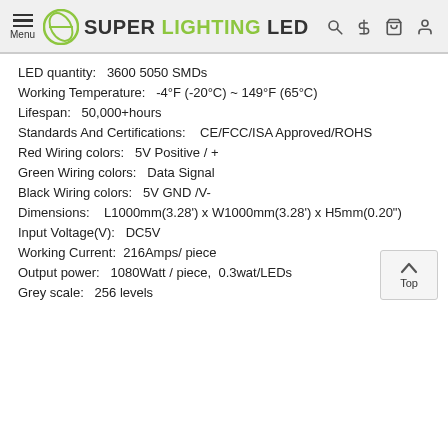Menu | SUPER LIGHTING LED
LED quantity:   3600 5050 SMDs
Working Temperature:   -4°F (-20°C) ~ 149°F (65°C)
Lifespan:   50,000+hours
Standards And Certifications:    CE/FCC/ISA Approved/ROHS
Red Wiring colors:   5V Positive / +
Green Wiring colors:   Data Signal
Black Wiring colors:   5V GND /V-
Dimensions:    L1000mm(3.28') x W1000mm(3.28') x H5mm(0.20")
Input Voltage(V):   DC5V
Working Current:  216Amps/ piece
Output power:   1080Watt / piece,  0.3wat/LEDs
Grey scale:   256 levels